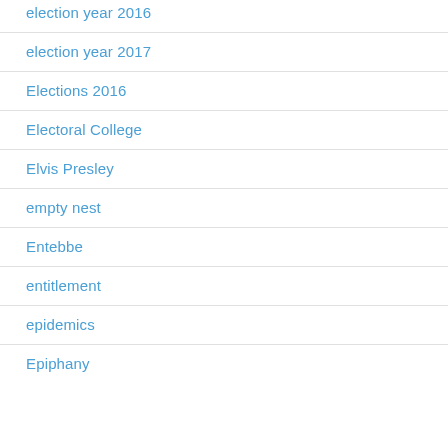election year 2016
election year 2017
Elections 2016
Electoral College
Elvis Presley
empty nest
Entebbe
entitlement
epidemics
Epiphany